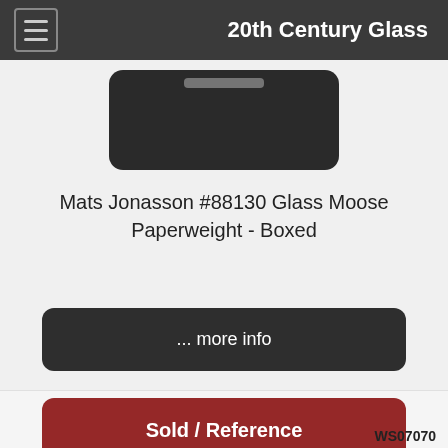20th Century Glass
[Figure (photo): Partial view of a dark glass paperweight product image, cropped at top]
Mats Jonasson #88130 Glass Moose Paperweight - Boxed
... more info
Sold / Reference
WS07070